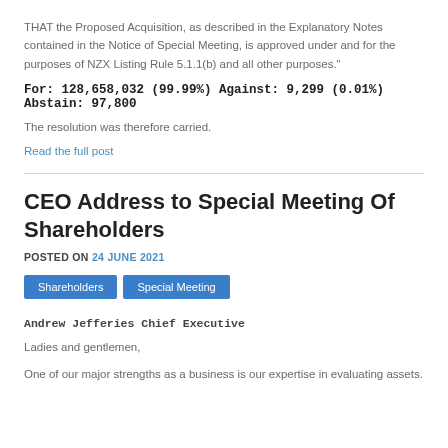THAT the Proposed Acquisition, as described in the Explanatory Notes contained in the Notice of Special Meeting, is approved under and for the purposes of NZX Listing Rule 5.1.1(b) and all other purposes."
For: 128,658,032 (99.99%) Against: 9,299 (0.01%) Abstain: 97,800
The resolution was therefore carried.
Read the full post
CEO Address to Special Meeting Of Shareholders
POSTED ON 24 JUNE 2021
Shareholders
Special Meeting
Andrew Jefferies Chief Executive
Ladies and gentlemen,
One of our major strengths as a business is our expertise in evaluating assets.